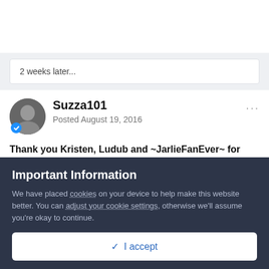2 weeks later...
Suzza101
Posted August 19, 2016
Thank you Kristen, Ludub and ~JarlieFanEver~ for your comments
Important Information
We have placed cookies on your device to help make this website better. You can adjust your cookie settings, otherwise we'll assume you're okay to continue.
✓  I accept